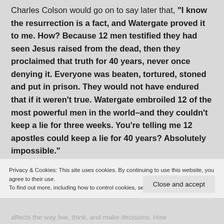Charles Colson would go on to say later that, "I know the resurrection is a fact, and Watergate proved it to me. How? Because 12 men testified they had seen Jesus raised from the dead, then they proclaimed that truth for 40 years, never once denying it. Everyone was beaten, tortured, stoned and put in prison. They would not have endured that if it weren't true. Watergate embroiled 12 of the most powerful men in the world–and they couldn't keep a lie for three weeks. You're telling me 12 apostles could keep a lie for 40 years? Absolutely impossible."
Privacy & Cookies: This site uses cookies. By continuing to use this website, you agree to their use.
To find out more, including how to control cookies, see here: Cookie Policy
Close and accept
affects the way live, think, and make decisions. How